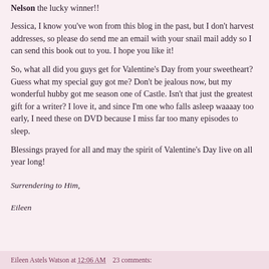Nelson the lucky winner!!
Jessica, I know you've won from this blog in the past, but I don't harvest addresses, so please do send me an email with your snail mail addy so I can send this book out to you. I hope you like it!
So, what all did you guys get for Valentine's Day from your sweetheart? Guess what my special guy got me? Don't be jealous now, but my wonderful hubby got me season one of Castle. Isn't that just the greatest gift for a writer? I love it, and since I'm one who falls asleep waaaay too early, I need these on DVD because I miss far too many episodes to sleep.
Blessings prayed for all and may the spirit of Valentine's Day live on all year long!
Surrendering to Him,
Eileen
Eileen Astels Watson at 12:06 AM  23 comments: